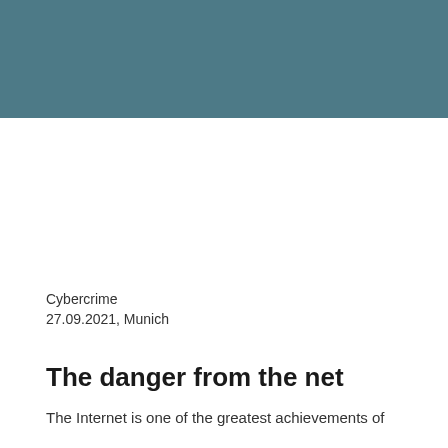[Figure (photo): Teal/slate blue textured background header image]
Cybercrime
27.09.2021, Munich
The danger from the net
The Internet is one of the greatest achievements of